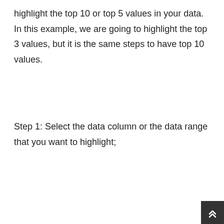highlight the top 10 or top 5 values in your data. In this example, we are going to highlight the top 3 values, but it is the same steps to have top 10 values.
Step 1: Select the data column or the data range that you want to highlight;
[Figure (screenshot): A spreadsheet screenshot showing a formula bar with value 62935, and column A selected with values: 62,935 | 31,400 | 66,573 | 13,592 | 25,289 | 14,436 | 28,833 | 87,572. Column B is also visible but empty.]